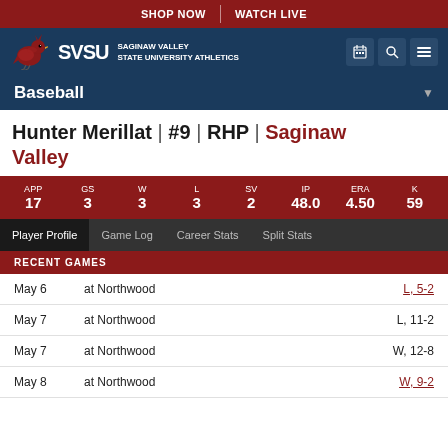SHOP NOW  WATCH LIVE
[Figure (logo): SVSU Cardinal logo with text SAGINAW VALLEY STATE UNIVERSITY ATHLETICS]
Baseball
Hunter Merillat | #9 | RHP | Saginaw Valley
| APP | GS | W | L | SV | IP | ERA | K |
| --- | --- | --- | --- | --- | --- | --- | --- |
| 17 | 3 | 3 | 3 | 2 | 48.0 | 4.50 | 59 |
Player Profile  Game Log  Career Stats  Split Stats
RECENT GAMES
| Date | Opponent | Result |
| --- | --- | --- |
| May 6 | at Northwood | L, 5-2 |
| May 7 | at Northwood | L, 11-2 |
| May 7 | at Northwood | W, 12-8 |
| May 8 | at Northwood | W, 9-2 |